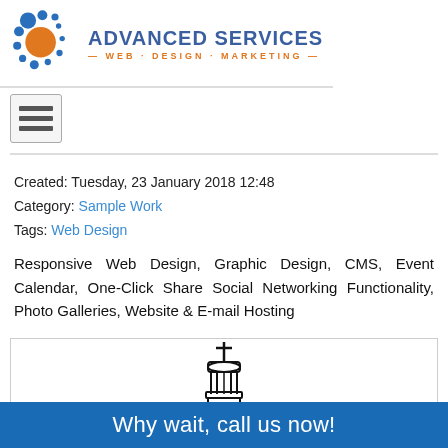[Figure (logo): Advanced Services Web Design Marketing logo with blue dot pattern, orange circle, and blue/orange text]
[Figure (other): Hamburger menu icon with three horizontal lines in a grey bordered box]
Created: Tuesday, 23 January 2018 12:48
Category: Sample Work
Tags: Web Design
Responsive Web Design, Graphic Design, CMS, Event Calendar, One-Click Share Social Networking Functionality, Photo Galleries, Website & E-mail Hosting
[Figure (illustration): Black and white illustration of a church bell tower / steeple with a cross on top]
Why wait, call us now!